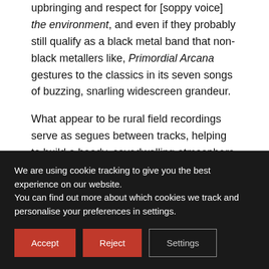upbringing and respect for [soppy voice] the environment, and even if they probably still qualify as a black metal band that non-black metallers like, Primordial Arcana gestures to the classics in its seven songs of buzzing, snarling widescreen grandeur.
What appear to be rural field recordings serve as segues between tracks, helping to build a heady, cavedwelling atmosphere as ably as the furs and skulls on the striking cover art. Drummer Aaron Weaver is on especially fine blasting form, stomping through the likes of Spirit Of Lightning and Underworld Aurora, while the synths that WITTR brought in about halfway
We are using cookie tracking to give you the best experience on our website.
You can find out more about which cookies we track and personalise your preferences in settings.